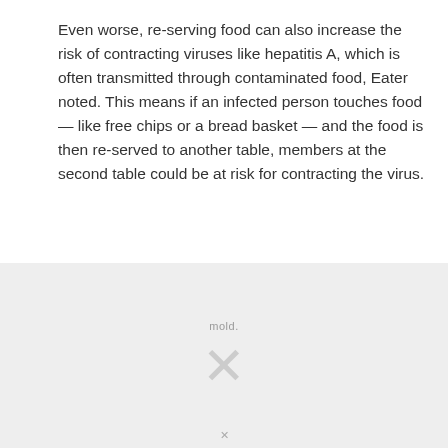Even worse, re-serving food can also increase the risk of contracting viruses like hepatitis A, which is often transmitted through contaminated food, Eater noted. This means if an infected person touches food — like free chips or a bread basket — and the food is then re-served to another table, members at the second table could be at risk for contracting the virus.
Similar risks are referenced in an excerpt from Anthony Bourdain's Kitchen Confidential. Strikingly, Bourdain hints at dangers from food storage and kitchen reuse, not even touching on pathogens that mold.
[Figure (other): Advertisement overlay with grey background showing an X symbol and close button]